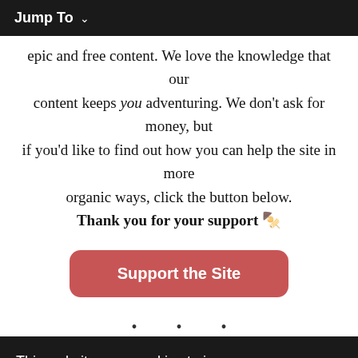Jump To ∨
epic and free content. We love the knowledge that our content keeps you adventuring. We don't ask for money, but if you'd like to find out how you can help the site in more organic ways, click the button below.
Thank you for your support 🙂
[Figure (other): A red rounded button labeled 'Support the Site']
· · ·
This website uses cookies to improve your experience. We'll assume you're ok with this, but you can opt-out if you wish.
[Figure (screenshot): Advertisement banner for BitLife game — 'NOW WITH GOD MODE']